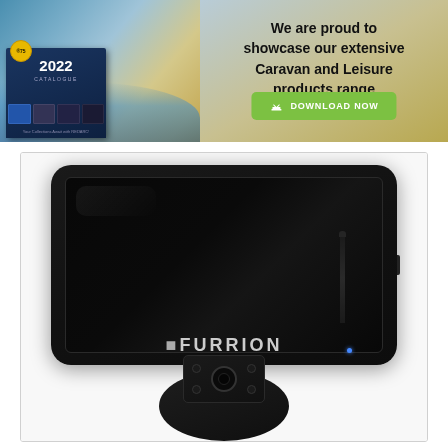[Figure (photo): Banner advertisement showing a 2022 catalogue with beach/ocean background on the left side, and text 'We are proud to showcase our extensive Caravan and Leisure products range' with a green DOWNLOAD NOW button on the right side]
We are proud to showcase our extensive Caravan and Leisure products range
[Figure (photo): Product photo of a Furrion wireless backup camera system showing a black rectangular monitor/display unit with rounded corners and an antenna with a wireless camera unit at the bottom]